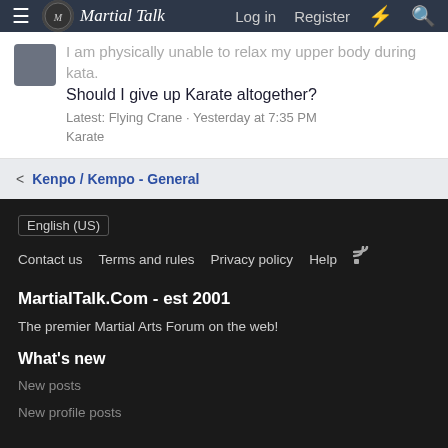Martial Talk — Log in  Register
I am physically unable to relax my upper body during kata. Should I give up Karate altogether?
Latest: Flying Crane · Yesterday at 7:35 PM
Karate
Kenpo / Kempo - General
English (US)
Contact us
Terms and rules
Privacy policy
Help
MartialTalk.Com - est 2001
The premier Martial Arts Forum on the web!
What's new
New posts
New profile posts